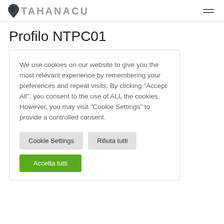TAHANACU [logo]
Profilo NTPC01
We use cookies on our website to give you the most relevant experience by remembering your preferences and repeat visits. By clicking “Accept All”, you consent to the use of ALL the cookies. However, you may visit “Cookie Settings” to provide a controlled consent.
Cookie Settings | Rifiuta tutti | Accetta tutti